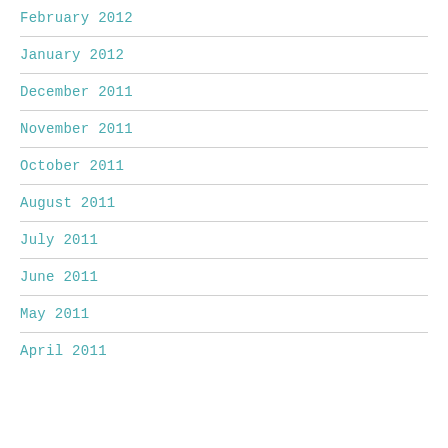February 2012
January 2012
December 2011
November 2011
October 2011
August 2011
July 2011
June 2011
May 2011
April 2011